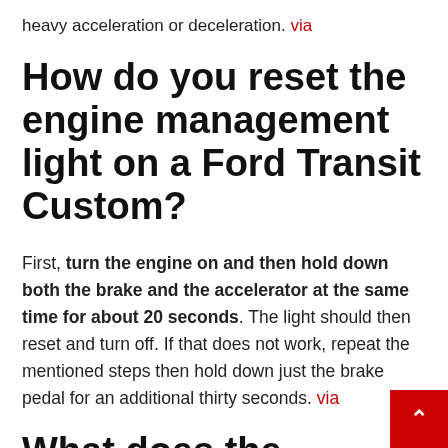heavy acceleration or deceleration. via
How do you reset the engine management light on a Ford Transit Custom?
First, turn the engine on and then hold down both the brake and the accelerator at the same time for about 20 seconds. The light should then reset and turn off. If that does not work, repeat the mentioned steps then hold down just the brake pedal for an additional thirty seconds. via
What does the spanner